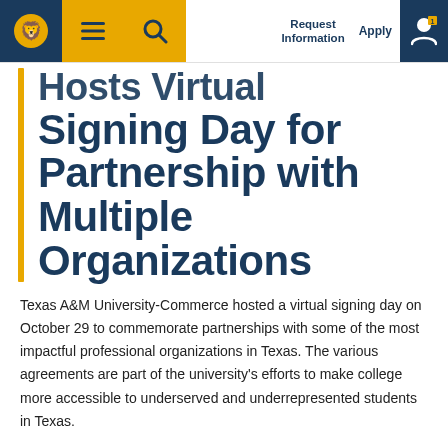Request Information | Apply
Hosts Virtual Signing Day for Partnership with Multiple Organizations
Texas A&M University-Commerce hosted a virtual signing day on October 29 to commemorate partnerships with some of the most impactful professional organizations in Texas. The various agreements are part of the university's efforts to make college more accessible to underserved and underrepresented students in Texas.
A&M-Commerce President Mark Rudin and Dr. Kimberly McLeod, dean of